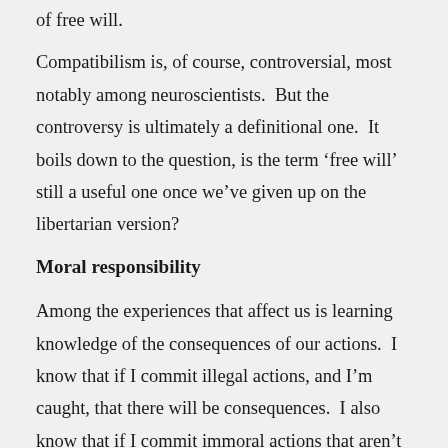of free will.
Compatibilism is, of course, controversial, most notably among neuroscientists.  But the controversy is ultimately a definitional one.  It boils down to the question, is the term ‘free will’ still a useful one once we’ve given up on the libertarian version?
Moral responsibility
Among the experiences that affect us is learning knowledge of the consequences of our actions.  I know that if I commit illegal actions, and I’m caught, that there will be consequences.  I also know that if I commit immoral actions that aren’t necessarily illegal, I could still face consequences for my reputation.  This knowledge, among other things, affects my choices.